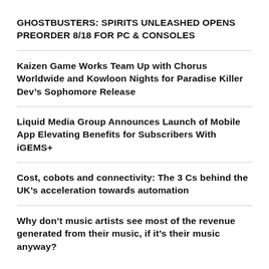GHOSTBUSTERS: SPIRITS UNLEASHED OPENS PREORDER 8/18 FOR PC & CONSOLES
Kaizen Game Works Team Up with Chorus Worldwide and Kowloon Nights for Paradise Killer Dev’s Sophomore Release
Liquid Media Group Announces Launch of Mobile App Elevating Benefits for Subscribers With iGEMS+
Cost, cobots and connectivity: The 3 Cs behind the UK’s acceleration towards automation
Why don’t music artists see most of the revenue generated from their music, if it’s their music anyway?